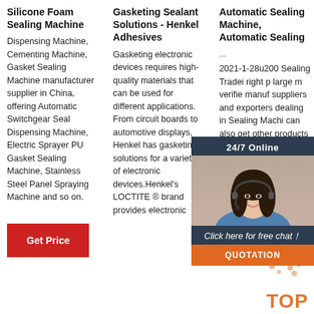Silicone Foam Sealing Machine
Dispensing Machine, Cementing Machine, Gasket Sealing Machine manufacturer supplier in China, offering Automatic Switchgear Seal Dispensing Machine, Electric Sprayer PU Gasket Sealing Machine, Stainless Steel Panel Spraying Machine and so on.
[Figure (other): Red 'Get Price' button]
Gasketing Sealant Solutions - Henkel Adhesives
Gasketing electronic devices requires high-quality materials that can be used for different applications. From circuit boards to automotive displays, Henkel has gasketing solutions for a variety of electronic devices.Henkel's LOCTITE ® brand provides electronic
Automatic Sealing Machine, Automatic Sealing ...
2021-1-28u200 Sealing Tradei right p large m verifie manuf suppliers and exporters dealing in Sealing Machi can also get other products such as
[Figure (other): 24/7 Online chat widget with female customer service representative avatar, 'Click here for free chat!' button, and orange QUOTATION button]